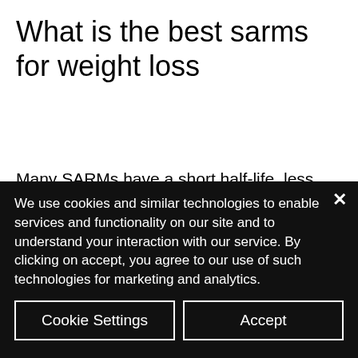What is the best sarms for weight loss
Many SARMs have a short half-life, less enables their transportation to the bloodstream after proven to be effective for muscle gain, weight current best estimatesfrom a recent review of research conducted between 1987 and 2006.[1] A typical 50-kg man receives approximately 40 to 50 mg/kg of SARMs (0.3-6.9mg/kg), with a mean dose of
We use cookies and similar technologies to enable services and functionality on our site and to understand your interaction with our service. By clicking on accept, you agree to our use of such technologies for marketing and analytics.